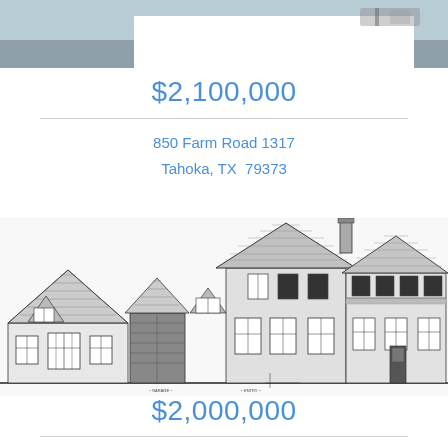[Figure (photo): Aerial or exterior photo of property, partially visible at top of page, with white overlay box in center]
$2,100,000
850 Farm Road 1317
Tahoka, TX  79373
[Figure (engineering-diagram): Architectural elevation drawing (blueprint-style) of a large single-story farmhouse with multiple gabled dormers, garage, and covered porches, rendered in black and white line art]
$2,000,000